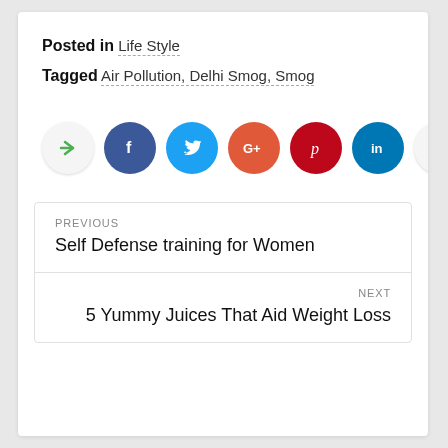Posted in Life Style
Tagged Air Pollution, Delhi Smog, Smog
[Figure (infographic): Social share buttons row: share (arrow), Facebook (f), Twitter (bird), Google+ (G+), Pinterest (p), LinkedIn (in), and a likes counter showing thumbs up and 14]
PREVIOUS
Self Defense training for Women
NEXT
5 Yummy Juices That Aid Weight Loss